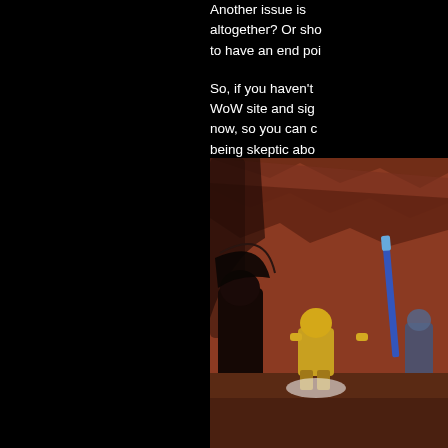Another issue is altogether? Or sho to have an end poi So, if you haven't WoW site and sig now, so you can c being skeptic abo fantastic, come int
[Figure (screenshot): World of Warcraft in-game screenshot showing characters in a reddish-brown terrain environment. A small character in yellow/gold armor stands in the center, with a dark creature/figure on the left and a blue weapon/staff visible on the right side. The background shows rocky red terrain.]